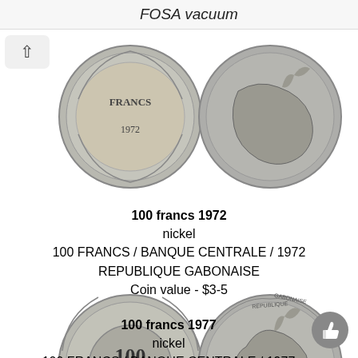FOSA vacuum
[Figure (photo): Two sides of a 100 francs 1972 Gabon nickel coin shown side by side - obverse showing FRANCS 1972 text and reverse showing an animal figure]
100 francs 1972
nickel
100 FRANCS / BANQUE CENTRALE / 1972
REPUBLIQUE GABONAISE
Coin value - $3-5
[Figure (photo): Two sides of a 100 francs 1977 Gabon nickel coin shown side by side - obverse showing 100 FRANCS text and reverse showing REPUBLIQUE GABONAISE with antelope figure]
100 francs 1977
nickel
100 FRANCS / BANQUE CENTRALE / 1977